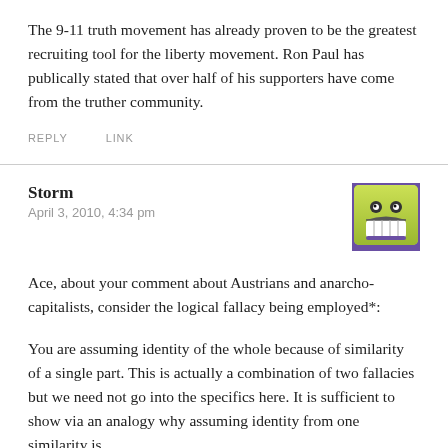The 9-11 truth movement has already proven to be the greatest recruiting tool for the liberty movement. Ron Paul has publically stated that over half of his supporters have come from the truther community.
REPLY   LINK
Storm
April 3, 2010, 4:34 pm
[Figure (illustration): Avatar icon: yellow-green smiley face with big grin and dot eyes on a purple background]
Ace, about your comment about Austrians and anarcho-capitalists, consider the logical fallacy being employed*:
You are assuming identity of the whole because of similarity of a single part. This is actually a combination of two fallacies but we need not go into the specifics here. It is sufficient to show via an analogy why assuming identity from one similarity is